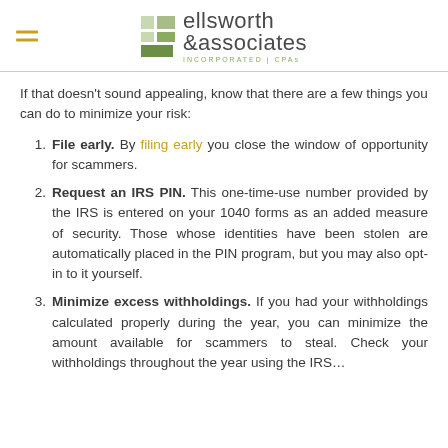ellsworth & associates INCORPORATED | CPAs
If that doesn't sound appealing, know that there are a few things you can do to minimize your risk:
File early. By filing early you close the window of opportunity for scammers.
Request an IRS PIN. This one-time-use number provided by the IRS is entered on your 1040 forms as an added measure of security. Those whose identities have been stolen are automatically placed in the PIN program, but you may also opt-in to it yourself.
Minimize excess withholdings. If you had your withholdings calculated properly during the year, you can minimize the amount available for scammers to steal. Check your withholdings throughout the year using the IRS...